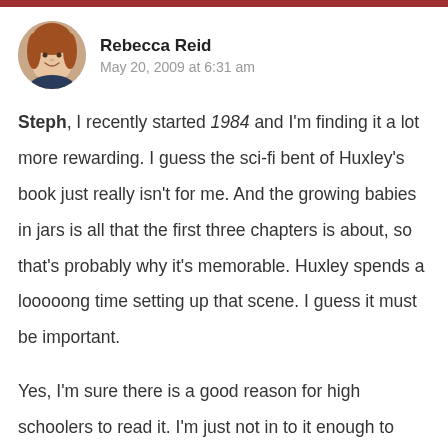[Figure (photo): Circular avatar photo of Rebecca Reid, a woman with reddish-brown hair, smiling]
Rebecca Reid
May 20, 2009 at 6:31 am
Steph, I recently started 1984 and I'm finding it a lot more rewarding. I guess the sci-fi bent of Huxley's book just really isn't for me. And the growing babies in jars is all that the first three chapters is about, so that's probably why it's memorable. Huxley spends a looooong time setting up that scene. I guess it must be important.
Yes, I'm sure there is a good reason for high schoolers to read it. I'm just not in to it enough to